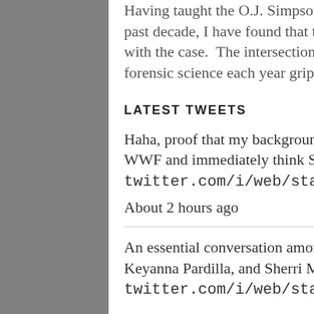Having taught the O.J. Simpson murder trial in my Forensic Science class for the past decade, I have found that teenagers are just as engaged as their parents were with the case.  The intersection of celebrity, class, power, race, privilege and forensic science each year grips them. Now, they also get to see this play [...]
LATEST TWEETS
Haha, proof that my background is different from most climate advocates. I see WWF and immediately think Shaun Mart... twitter.com/i/web/status/15621...
About 2 hours ago
An essential conversation among Indigenous leaders: Robin Wall Kimmerer, Keyanna Pardilla, and Sherri Mitchell Weh'... twitter.com/i/web/status/15620...